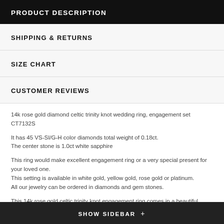PRODUCT DESCRIPTION
SHIPPING & RETURNS
SIZE CHART
CUSTOMER REVIEWS
14k rose gold diamond celtic trinity knot wedding ring, engagement set CT7132S
It has 45 VS-SI/G-H color diamonds total weight of 0.18ct.
The center stone is 1.0ct white sapphire
This ring would make excellent engagement ring or a very special present for your loved one.
This setting is available in white gold, yellow gold, rose gold or platinum.
All our jewelry can be ordered in diamonds and gem stones.
This 14k rose gold celtic trinity knot engagement ring comes in a beautiful jewelry box.
SHOW SIDEBAR +